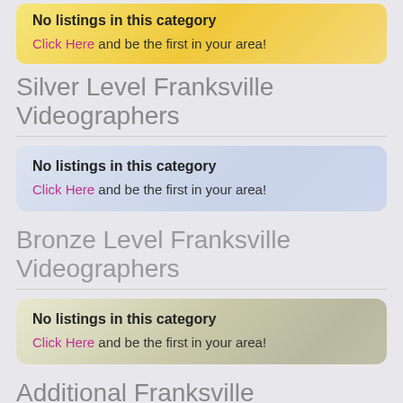No listings in this category
Click Here and be the first in your area!
Silver Level Franksville Videographers
No listings in this category
Click Here and be the first in your area!
Bronze Level Franksville Videographers
No listings in this category
Click Here and be the first in your area!
Additional Franksville Videographers